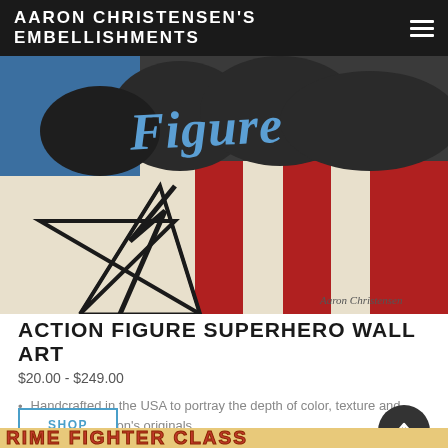AARON CHRISTENSEN'S EMBELLISHMENTS
[Figure (photo): Close-up artwork of a superhero/action figure themed painting with American flag motifs — red and white vertical stripes, a white star with black outline, dark cloudy background with blue script text reading 'Figure' at top, artist signature at bottom right.]
ACTION FIGURE SUPERHERO WALL ART
$20.00 - $249.00
Handcrafted in the USA to portray the depth of color, texture and richness of Aaron's originals.
SHOP
[Figure (photo): Bottom strip showing partial text 'RIME FIGHTER CLASS' in bold red letters on a tan/yellow background — part of another product image.]